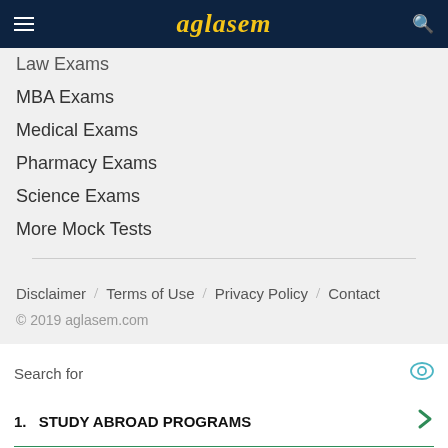aglasem
Law Exams
MBA Exams
Medical Exams
Pharmacy Exams
Science Exams
More Mock Tests
Disclaimer / Terms of Use / Privacy Policy / Contact
© 2019 aglasem.com
[Figure (screenshot): Advertisement section with 'Search for' heading, eye icon, two numbered items '1. STUDY ABROAD PROGRAMS' and '2. RECOMMENDATION LETTER FOR' with green chevron arrows, and 'Ad | Business Focus' footer with play icon.]